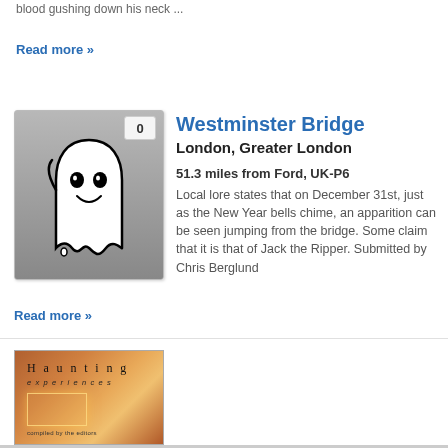blood gushing down his neck ...
Read more »
[Figure (illustration): Ghost icon on grey gradient background with rating badge showing 0]
Westminster Bridge
London, Greater London
51.3 miles from Ford, UK-P6
Local lore states that on December 31st, just as the New Year bells chime, an apparition can be seen jumping from the bridge. Some claim that it is that of Jack the Ripper. Submitted by Chris Berglund
Read more »
[Figure (photo): Book cover titled 'Haunting experiences' with warm orange/amber background and glowing rectangle]